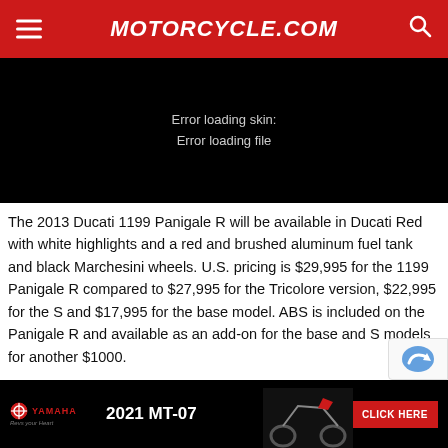MOTORCYCLE.COM
[Figure (other): Black video player area with error message: Error loading skin: Error loading file]
The 2013 Ducati 1199 Panigale R will be available in Ducati Red with white highlights and a red and brushed aluminum fuel tank and black Marchesini wheels. U.S. pricing is $29,995 for the 1199 Panigale R compared to $27,995 for the Tricolore version, $22,995 for the S and $17,995 for the base model. ABS is included on the Panigale R and available as an add-on for the base and S models for another $1000.
Follow Motorcycle.com for more coverage of the 2012 |
[Figure (other): Yamaha 2021 MT-07 advertisement banner with CLICK HERE button]